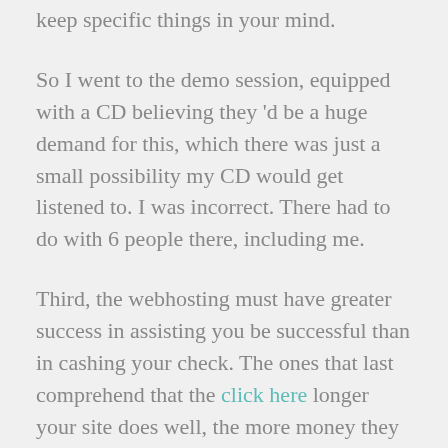keep specific things in your mind.
So I went to the demo session, equipped with a CD believing they 'd be a huge demand for this, which there was just a small possibility my CD would get listened to. I was incorrect. There had to do with 6 people there, including me.
Third, the webhosting must have greater success in assisting you be successful than in cashing your check. The ones that last comprehend that the click here longer your site does well, the more money they will make from hosting it in time. Therefore, they will wish to keep you happy with cost conserving initiatives that are advantageous to you. Discounts and coupons are just a few of the manner ins which a quality service provider rewards faithful service. Make certain that your